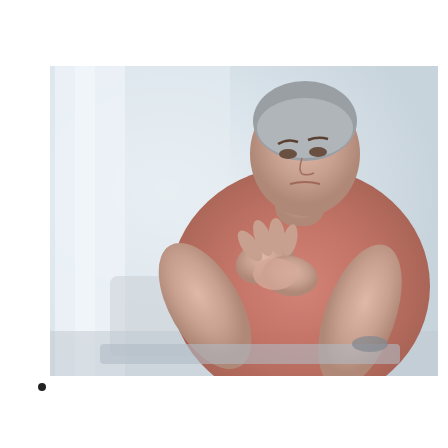What Is a Bone Spur in the Knee?
[Figure (photo): Middle-aged man in a salmon/red t-shirt sitting at a table, holding his wrist/hand with a pained expression, appearing to have joint pain. Background shows a bright room with white curtains.]